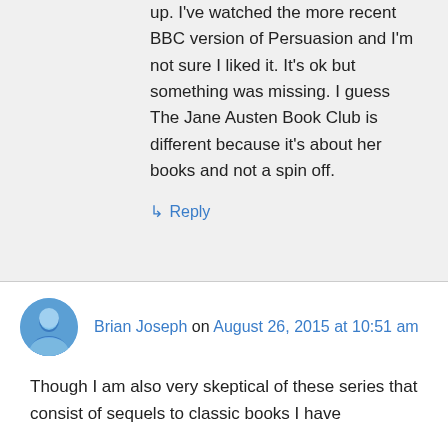up. I've watched the more recent BBC version of Persuasion and I'm not sure I liked it. It's ok but something was missing. I guess The Jane Austen Book Club is different because it's about her books and not a spin off.
↳ Reply
Brian Joseph on August 26, 2015 at 10:51 am
Though I am also very skeptical of these series that consist of sequels to classic books I have